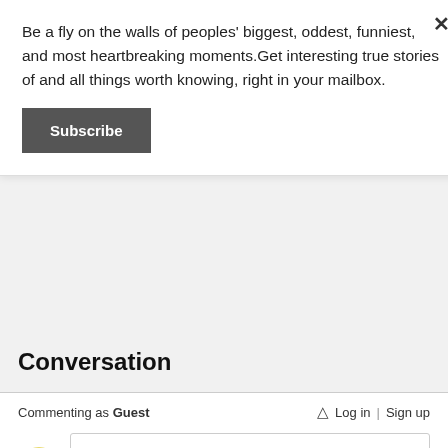Be a fly on the walls of peoples' biggest, oddest, funniest, and most heartbreaking moments.Get interesting true stories of and all things worth knowing, right in your mailbox.
Subscribe
Conversation
Commenting as Guest
Log in  Sign up
Be the first to comment...
OpenWeb    Terms | Privacy | Feedback